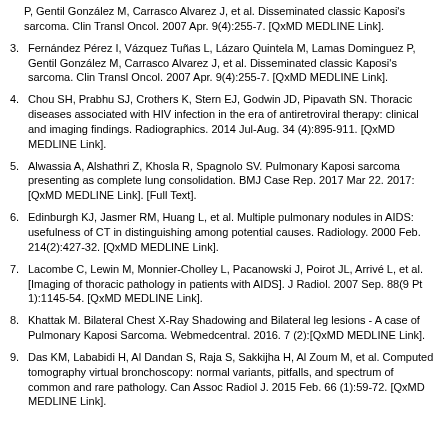P, Gentil González M, Carrasco Alvarez J, et al. Disseminated classic Kaposi's sarcoma. Clin Transl Oncol. 2007 Apr. 9(4):255-7. [QxMD MEDLINE Link].
3. Fernández Pérez I, Vázquez Tuñas L, Lázaro Quintela M, Lamas Dominguez P, Gentil González M, Carrasco Alvarez J, et al. Disseminated classic Kaposi's sarcoma. Clin Transl Oncol. 2007 Apr. 9(4):255-7. [QxMD MEDLINE Link].
4. Chou SH, Prabhu SJ, Crothers K, Stern EJ, Godwin JD, Pipavath SN. Thoracic diseases associated with HIV infection in the era of antiretroviral therapy: clinical and imaging findings. Radiographics. 2014 Jul-Aug. 34 (4):895-911. [QxMD MEDLINE Link].
5. Alwassia A, Alshathri Z, Khosla R, Spagnolo SV. Pulmonary Kaposi sarcoma presenting as complete lung consolidation. BMJ Case Rep. 2017 Mar 22. 2017:[QxMD MEDLINE Link]. [Full Text].
6. Edinburgh KJ, Jasmer RM, Huang L, et al. Multiple pulmonary nodules in AIDS: usefulness of CT in distinguishing among potential causes. Radiology. 2000 Feb. 214(2):427-32. [QxMD MEDLINE Link].
7. Lacombe C, Lewin M, Monnier-Cholley L, Pacanowski J, Poirot JL, Arrivé L, et al. [Imaging of thoracic pathology in patients with AIDS]. J Radiol. 2007 Sep. 88(9 Pt 1):1145-54. [QxMD MEDLINE Link].
8. Khattak M. Bilateral Chest X-Ray Shadowing and Bilateral leg lesions - A case of Pulmonary Kaposi Sarcoma. Webmedcentral. 2016. 7 (2):[QxMD MEDLINE Link].
9. Das KM, Lababidi H, Al Dandan S, Raja S, Sakkijha H, Al Zoum M, et al. Computed tomography virtual bronchoscopy: normal variants, pitfalls, and spectrum of common and rare pathology. Can Assoc Radiol J. 2015 Feb. 66 (1):59-72. [QxMD MEDLINE Link].